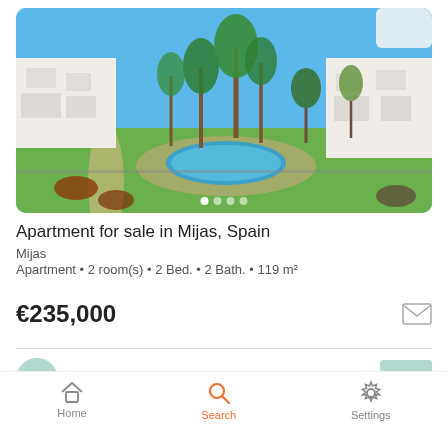[Figure (photo): Aerial/elevated view of a Mediterranean apartment complex in Mijas, Spain, with a circular swimming pool surrounded by palm trees and green lawns, white buildings, and blue sky.]
Apartment for sale in Mijas, Spain
Mijas
Apartment • 2 room(s) • 2 Bed. • 2 Bath. • 119 m²
€235,000
Cian inmobiliaria
Home   Search   Settings